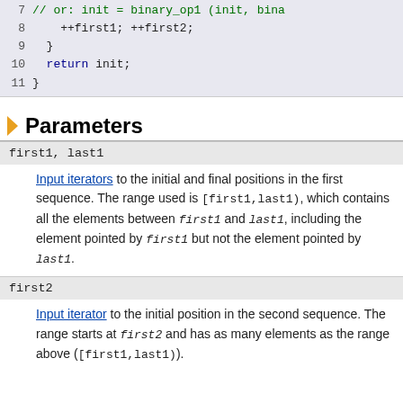[Figure (screenshot): Code block showing lines 7-11 of a C++ function with syntax highlighting. Line 7: // or: init = binary_op1 (init, bina..., Line 8: ++first1; ++first2;, Line 9: }, Line 10: return init;, Line 11: }]
Parameters
first1, last1 — Input iterators to the initial and final positions in the first sequence. The range used is [first1,last1), which contains all the elements between first1 and last1, including the element pointed by first1 but not the element pointed by last1.
first2 — Input iterator to the initial position in the second sequence. The range starts at first2 and has as many elements as the range above ([first1,last1)).